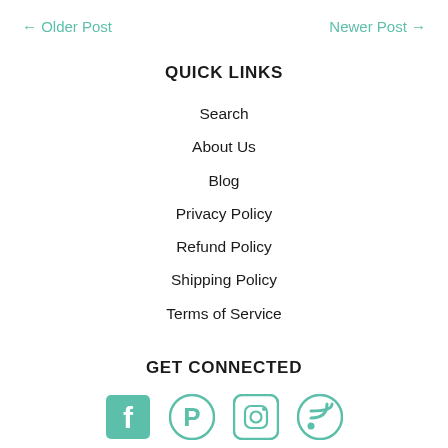← Older Post    Newer Post →
QUICK LINKS
Search
About Us
Blog
Privacy Policy
Refund Policy
Shipping Policy
Terms of Service
GET CONNECTED
[Figure (infographic): Row of four social media icons in teal: Facebook, Pinterest, Instagram, RSS feed]